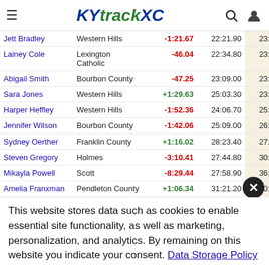KYtrackXC
| Name | School | Diff | Time1 | Time2 |
| --- | --- | --- | --- | --- |
| Jett Bradley | Western Hills | -1:21.67 | 22:21.90 | 23:43.57 |
| Lainey Cole | Lexington Catholic | -46.04 | 22:34.80 | 23:20.84 |
| Abigail Smith | Bourbon County | -47.25 | 23:09.00 | 23:56.25 |
| Sara Jones | Western Hills | +1:29.63 | 25:03.30 | 23:33.67 |
| Harper Heffley | Western Hills | -1:52.36 | 24:06.70 | 25:59.06 |
| Jennifer Wilson | Bourbon County | -1:42.06 | 25:09.00 | 26:51.06 |
| Sydney Oerther | Franklin County | +1:16.02 | 28:23.40 | 27:07.38 |
| Steven Gregory | Holmes | -3:10.41 | 27:44.80 | 30:55.21 |
| Mikayla Powell | Scott | -8:29.44 | 27:58.90 | 36:28.34 |
| Amelia Franxman | Pendleton County | +1:06.34 | 31:21.20 | 30:14.86 |
This website stores data such as cookies to enable essential site functionality, as well as marketing, personalization, and analytics. By remaining on this website you indicate your consent. Data Storage Policy